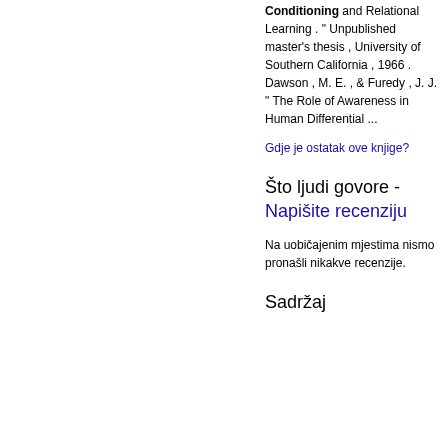Conditioning and Relational Learning . " Unpublished master's thesis , University of Southern California , 1966 . Dawson , M. E. , & Furedy , J. J. " The Role of Awareness in Human Differential ...
Gdje je ostatak ove knjige?
Što ljudi govore - Napišite recenziju
Na uobičajenim mjestima nismo pronašli nikakve recenzije.
Sadržaj